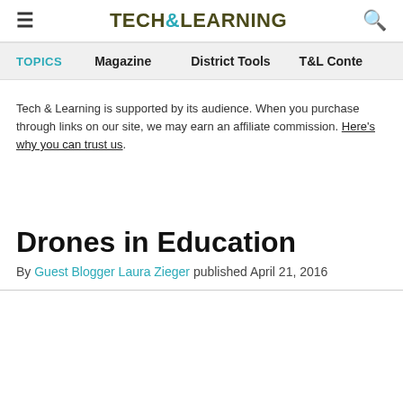TECH&LEARNING
Tech & Learning is supported by its audience. When you purchase through links on our site, we may earn an affiliate commission. Here's why you can trust us.
Drones in Education
By Guest Blogger Laura Zieger published April 21, 2016